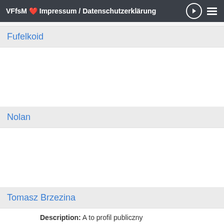VFfsM Impressum / Datenschutzerklärung
Fufelkoid
Nolan
Tomasz Brzezina
Description: A to profil publiczny
Age: 47